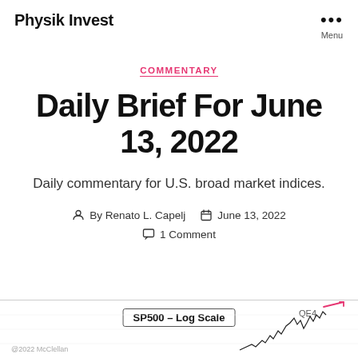Physik Invest
COMMENTARY
Daily Brief For June 13, 2022
Daily commentary for U.S. broad market indices.
By Renato L. Capelj   June 13, 2022   1 Comment
[Figure (other): Partial view of SP500 Log Scale chart with QE4 label and a price line with pink arrow indicator, watermarked @2022 McClellan]